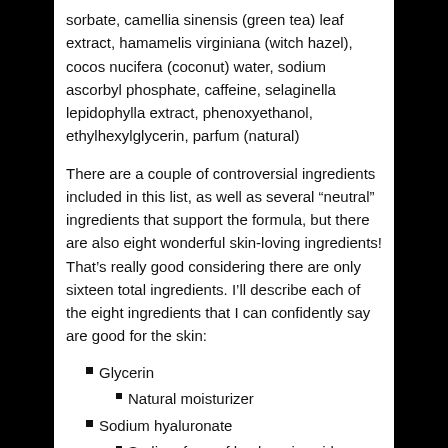sorbate, camellia sinensis (green tea) leaf extract, hamamelis virginiana (witch hazel), cocos nucifera (coconut) water, sodium ascorbyl phosphate, caffeine, selaginella lepidophylla extract, phenoxyethanol, ethylhexylglycerin, parfum (natural)
There are a couple of controversial ingredients included in this list, as well as several “neutral” ingredients that support the formula, but there are also eight wonderful skin-loving ingredients! That’s really good considering there are only sixteen total ingredients. I’ll describe each of the eight ingredients that I can confidently say are good for the skin:
Glycerin
Natural moisturizer
Sodium hyaluronate
Sodium form of hyaluronic acid (humectant)
Aloe barbadensis leaf extract
Moisturizer
Anti-inflammatory
Panthenol